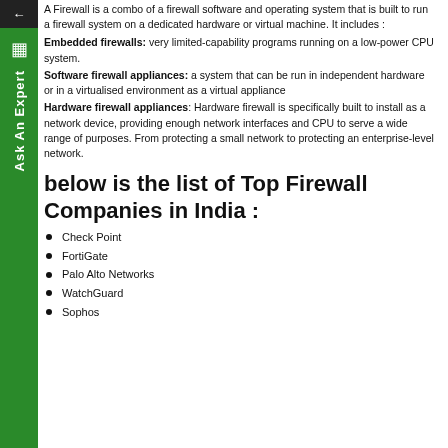A Firewall is a combo of a firewall software and operating system that is built to run a firewall system on a dedicated hardware or virtual machine. It includes :
Embedded firewalls: very limited-capability programs running on a low-power CPU system.
Software firewall appliances: a system that can be run in independent hardware or in a virtualised environment as a virtual appliance
Hardware firewall appliances: Hardware firewall is specifically built to install as a network device, providing enough network interfaces and CPU to serve a wide range of purposes. From protecting a small network to protecting an enterprise-level network.
below is the list of Top Firewall Companies in India :
Check Point
FortiGate
Palo Alto Networks
WatchGuard
Sophos